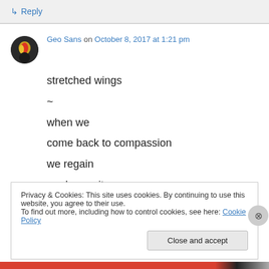↳ Reply
Geo Sans on October 8, 2017 at 1:21 pm
stretched wings
~
when we
come back to compassion
we regain
our humanity
Privacy & Cookies: This site uses cookies. By continuing to use this website, you agree to their use.
To find out more, including how to control cookies, see here: Cookie Policy
Close and accept